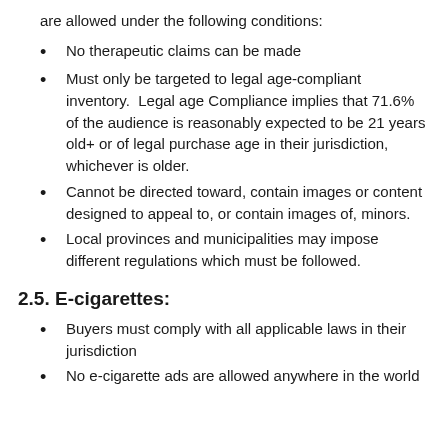are allowed under the following conditions:
No therapeutic claims can be made
Must only be targeted to legal age-compliant inventory.  Legal age Compliance implies that 71.6% of the audience is reasonably expected to be 21 years old+ or of legal purchase age in their jurisdiction, whichever is older.
Cannot be directed toward, contain images or content designed to appeal to, or contain images of, minors.
Local provinces and municipalities may impose different regulations which must be followed.
2.5. E-cigarettes:
Buyers must comply with all applicable laws in their jurisdiction
No e-cigarette ads are allowed anywhere in the world